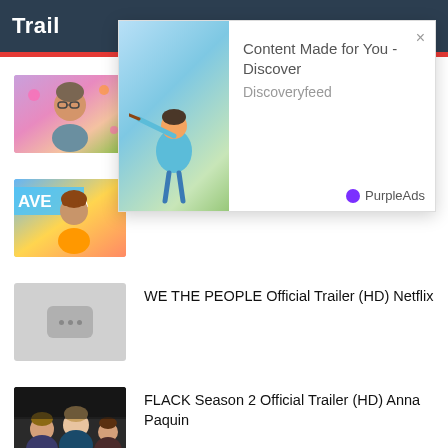Trail
[Figure (screenshot): Ad popup overlay: image of person with telescope on teal/green background, with text 'Content Made for You - Discover', 'Discoveryfeed', PurpleAds branding, and close button]
[Figure (photo): Thumbnail for FULL BLOOM Season 2 - man with glasses]
FULL BLOOM Season 2 Official Trailer (2021) HBO Max Series
[Figure (photo): Thumbnail for DAVE - man in orange shirt with DAVE banner]
DAVE Official Trailer Season 2 FX (2021)
[Figure (photo): Thumbnail placeholder with loading dots icon]
WE THE PEOPLE Official Trailer (HD) Netflix
[Figure (photo): Thumbnail for FLACK Season 2 - women in office]
FLACK Season 2 Official Trailer (HD) Anna Paquin